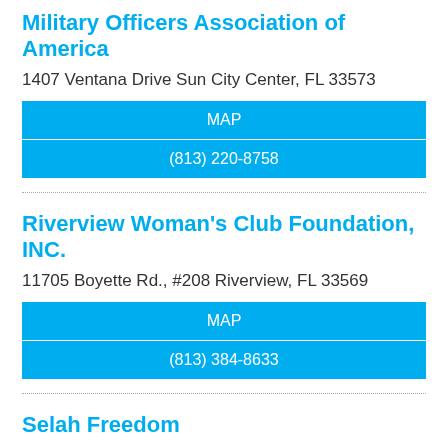Military Officers Association of America
1407 Ventana Drive Sun City Center, FL 33573
MAP
(813) 220-8758
Riverview Woman's Club Foundation, INC.
11705 Boyette Rd., #208 Riverview, FL 33569
MAP
(813) 384-8633
Selah Freedom
PO Box 21415 Sarasota, FL 34276